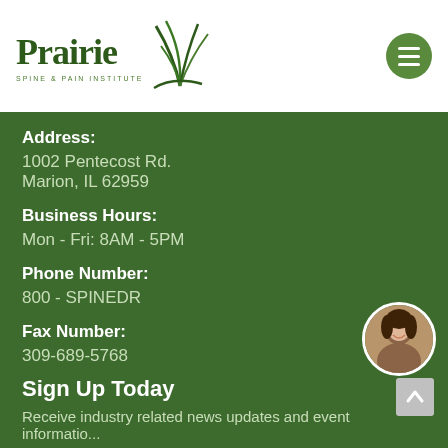[Figure (logo): Prairie Spine & Pain Institute logo with stylized plant graphic in green]
Address:
1002 Pentecost Rd.
Marion, IL 62959
Business Hours:
Mon - Fri: 8AM - 5PM
Phone Number:
800 - SPINEDR
Fax Number:
309-689-5768
Sign Up Today
Receive industry related news updates and event informatio...
[Figure (photo): Woman with headset smiling, customer service representative]
Enter Email Address